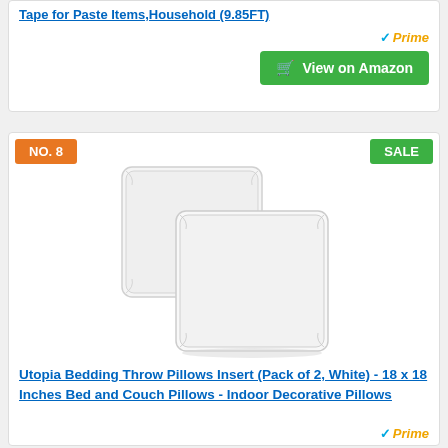Tape for Paste Items,Household (9.85FT)
[Figure (screenshot): View on Amazon button with Prime badge]
[Figure (photo): Two white throw pillow inserts stacked slightly offset]
Utopia Bedding Throw Pillows Insert (Pack of 2, White) - 18 x 18 Inches Bed and Couch Pillows - Indoor Decorative Pillows
[Figure (logo): Amazon Prime badge (checkmark + Prime text)]